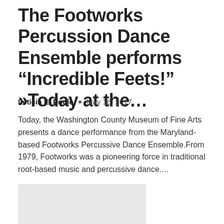The Footworks Percussion Dance Ensemble performs “Incredible Feets!” »Today at the…
Leticia E. Poole  •  May 16, 2017
Today, the Washington County Museum of Fine Arts presents a dance performance from the Maryland-based Footworks Percussive Dance Ensemble.From 1979, Footworks was a pioneering force in traditional root-based music and percussive dance....
[Figure (photo): Light gray placeholder image block]